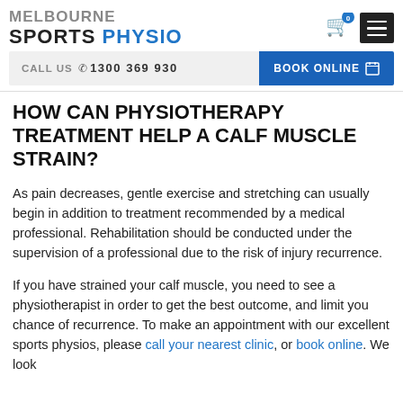MELBOURNE SPORTS PHYSIO
CALL US  1300 369 930   BOOK ONLINE
HOW CAN PHYSIOTHERAPY TREATMENT HELP A CALF MUSCLE STRAIN?
As pain decreases, gentle exercise and stretching can usually begin in addition to treatment recommended by a medical professional. Rehabilitation should be conducted under the supervision of a professional due to the risk of injury recurrence.
If you have strained your calf muscle, you need to see a physiotherapist in order to get the best outcome, and limit you chance of recurrence. To make an appointment with our excellent sports physios, please call your nearest clinic, or book online. We look